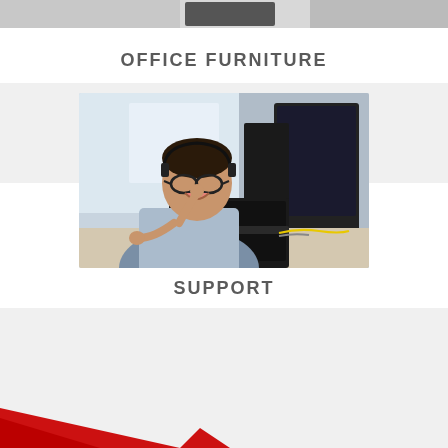[Figure (photo): Partial view of office equipment/printer at the very top of the page (cropped)]
OFFICE FURNITURE
[Figure (photo): A smiling man wearing glasses and a headset, sitting at a desk with a laptop and dual monitors, talking on the phone in an office environment]
SUPPORT
[Figure (illustration): Bottom decorative area with a red and white curved swoosh/ribbon design on a light grey background]